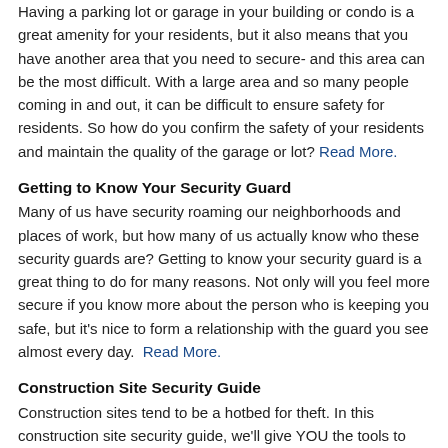Having a parking lot or garage in your building or condo is a great amenity for your residents, but it also means that you have another area that you need to secure- and this area can be the most difficult. With a large area and so many people coming in and out, it can be difficult to ensure safety for residents. So how do you confirm the safety of your residents and maintain the quality of the garage or lot? Read More.
Getting to Know Your Security Guard
Many of us have security roaming our neighborhoods and places of work, but how many of us actually know who these security guards are? Getting to know your security guard is a great thing to do for many reasons. Not only will you feel more secure if you know more about the person who is keeping you safe, but it's nice to form a relationship with the guard you see almost every day.  Read More.
Construction Site Security Guide
Construction sites tend to be a hotbed for theft. In this construction site security guide, we'll give YOU the tools to prevent loss and theft at your construction site. Creating a security plan at your construction site is the first step at